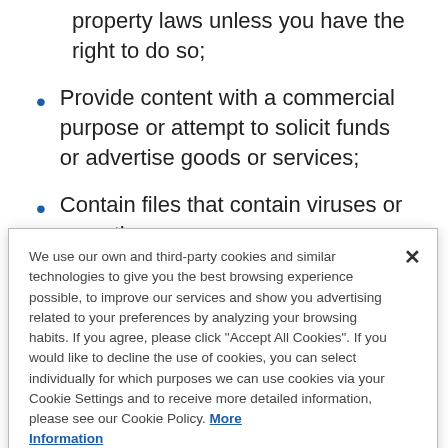property laws unless you have the right to do so;
Provide content with a commercial purpose or attempt to solicit funds or advertise goods or services;
Contain files that contain viruses or any other
We use our own and third-party cookies and similar technologies to give you the best browsing experience possible, to improve our services and show you advertising related to your preferences by analyzing your browsing habits. If you agree, please click "Accept All Cookies". If you would like to decline the use of cookies, you can select individually for which purposes we can use cookies via your Cookie Settings and to receive more detailed information, please see our Cookie Policy. More Information
Cookies Settings | Accept All Cookies